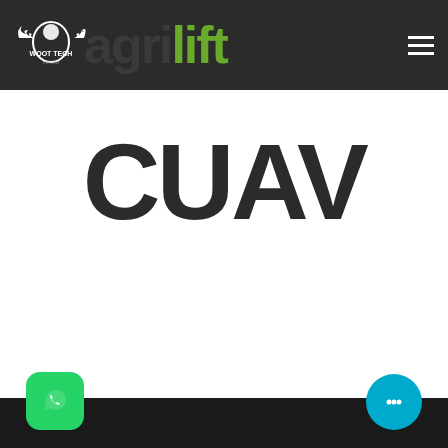[Figure (logo): Header bar with Woot Tech Pvt Ltd logo (white eagle/wings emblem) and agrilift brand name in dark/green text on dark background, plus hamburger menu icon]
[Figure (logo): CUAV logo in large bold dark letters on white background]
[Figure (logo): Black banner with drone/wifi icon and text 'Robotics & Internet-of-Things' in white]
[Figure (logo): WhatsApp icon button (green rounded square) at bottom left]
[Figure (logo): Chat/support icon button (teal circle) at bottom right]